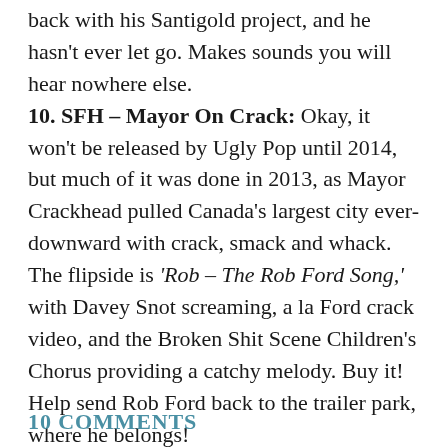back with his Santigold project, and he hasn't ever let go. Makes sounds you will hear nowhere else.
10. SFH – Mayor On Crack: Okay, it won't be released by Ugly Pop until 2014, but much of it was done in 2013, as Mayor Crackhead pulled Canada's largest city ever-downward with crack, smack and whack. The flipside is 'Rob – The Rob Ford Song,' with Davey Snot screaming, a la Ford crack video, and the Broken Shit Scene Children's Chorus providing a catchy melody. Buy it! Help send Rob Ford back to the trailer park, where he belongs!
10 COMMENTS